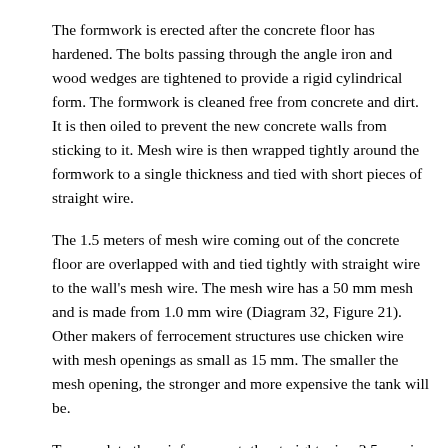The formwork is erected after the concrete floor has hardened. The bolts passing through the angle iron and wood wedges are tightened to provide a rigid cylindrical form. The formwork is cleaned free from concrete and dirt. It is then oiled to prevent the new concrete walls from sticking to it. Mesh wire is then wrapped tightly around the formwork to a single thickness and tied with short pieces of straight wire.
The 1.5 meters of mesh wire coming out of the concrete floor are overlapped with and tied tightly with straight wire to the wall's mesh wire. The mesh wire has a 50 mm mesh and is made from 1.0 mm wire (Diagram 32, Figure 21). Other makers of ferrocement structures use chicken wire with mesh openings as small as 15 mm. The smaller the mesh opening, the stronger and more expensive the tank will be.
To complete the reinforcement, the straight wire, 2.5 mm in diameter, is then wound tightly around the tank from the base up, at the following spacings: